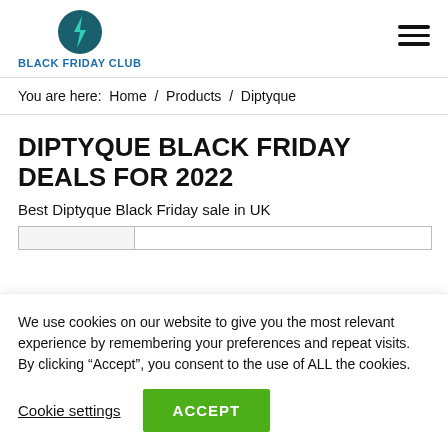[Figure (logo): Black Friday Club logo: teal lightning bolt in dark teal circle, with bold blue text 'BLACK FRIDAY CLUB' below]
You are here:  Home  /  Products  /  Diptyque
DIPTYQUE BLACK FRIDAY DEALS FOR 2022
Best Diptyque Black Friday sale in UK
We use cookies on our website to give you the most relevant experience by remembering your preferences and repeat visits. By clicking “Accept”, you consent to the use of ALL the cookies.
Cookie settings   ACCEPT